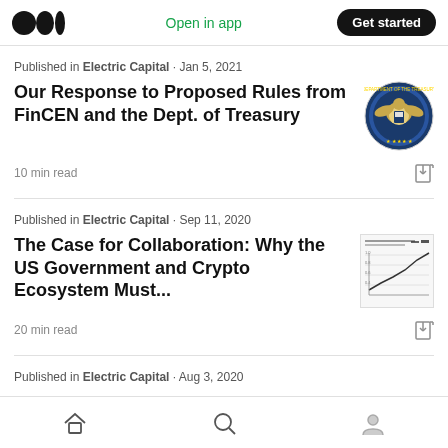Medium logo | Open in app | Get started
Published in Electric Capital · Jan 5, 2021
Our Response to Proposed Rules from FinCEN and the Dept. of Treasury
10 min read
[Figure (logo): U.S. Treasury Department seal/badge circular logo]
Published in Electric Capital · Sep 11, 2020
The Case for Collaboration: Why the US Government and Crypto Ecosystem Must...
20 min read
[Figure (screenshot): Small thumbnail image of a chart/document]
Published in Electric Capital · Aug 3, 2020
Home | Search | Profile navigation icons